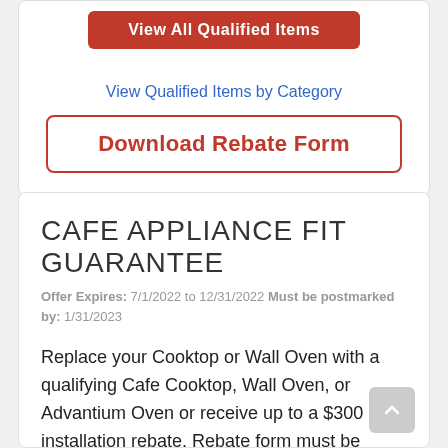[Figure (screenshot): Red button labeled 'View All Qualified Items']
View Qualified Items by Category
Download Rebate Form
CAFE APPLIANCE FIT GUARANTEE
Offer Expires: 7/1/2022 to 12/31/2022 Must be postmarked by: 1/31/2023
Replace your Cooktop or Wall Oven with a qualifying Cafe Cooktop, Wall Oven, or Advantium Oven or receive up to a $300 installation rebate. Rebate form must be postmarked by 1/31/2023.